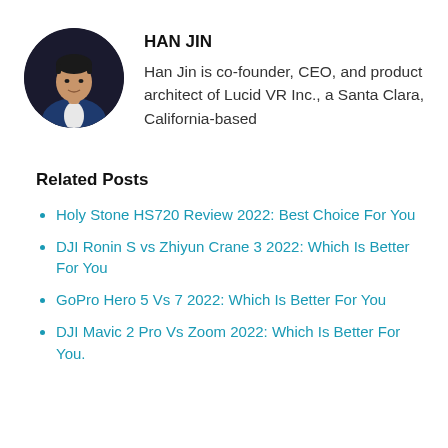[Figure (photo): Circular headshot photo of Han Jin, a man in a blue suit against a dark background]
HAN JIN
Han Jin is co-founder, CEO, and product architect of Lucid VR Inc., a Santa Clara, California-based
Related Posts
Holy Stone HS720 Review 2022: Best Choice For You
DJI Ronin S vs Zhiyun Crane 3 2022: Which Is Better For You
GoPro Hero 5 Vs 7 2022: Which Is Better For You
DJI Mavic 2 Pro Vs Zoom 2022: Which Is Better For You.